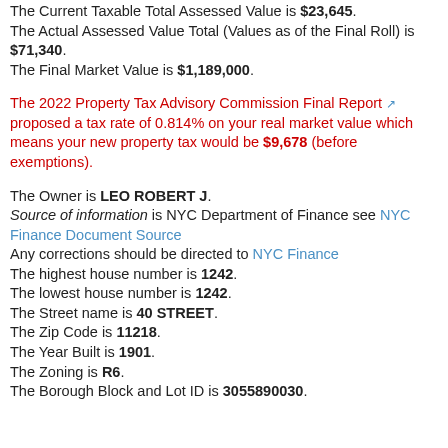The Current Taxable Total Assessed Value is $23,645. The Actual Assessed Value Total (Values as of the Final Roll) is $71,340. The Final Market Value is $1,189,000.
The 2022 Property Tax Advisory Commission Final Report proposed a tax rate of 0.814% on your real market value which means your new property tax would be $9,678 (before exemptions).
The Owner is LEO ROBERT J. Source of information is NYC Department of Finance see NYC Finance Document Source Any corrections should be directed to NYC Finance The highest house number is 1242. The lowest house number is 1242. The Street name is 40 STREET. The Zip Code is 11218. The Year Built is 1901. The Zoning is R6. The Borough Block and Lot ID is 3055890030.